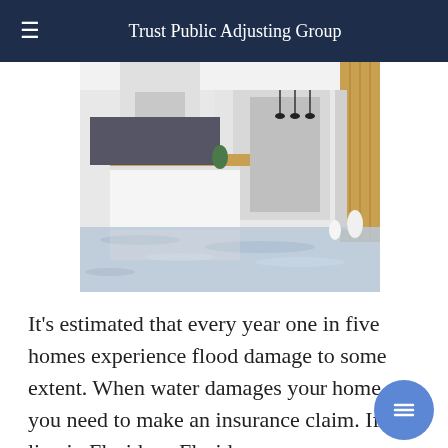Trust Public Adjusting Group
[Figure (photo): A modern flooded kitchen interior with water covering the floor, showing a kitchen island with wood accents and white cabinetry, floodwater reflecting light.]
It's estimated that every year one in five homes experience flood damage to some extent. When water damages your home, you need to make an insurance claim. If you live in Florida, a Florida